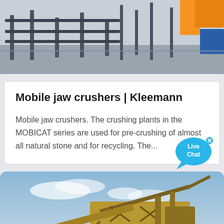[Figure (photo): Top portion of industrial machinery/conveyor system, partially cropped, with orange structural elements visible at upper right against a warehouse background.]
Mobile jaw crushers | Kleemann
Mobile jaw crushers. The crushing plants in the MOBICAT series are used for pre-crushing of almost all natural stone and for recycling. The...
[Figure (photo): Large industrial mining or quarrying machinery (excavator/bucket-wheel type) photographed against a partly cloudy blue sky, with earthen mounds in the foreground.]